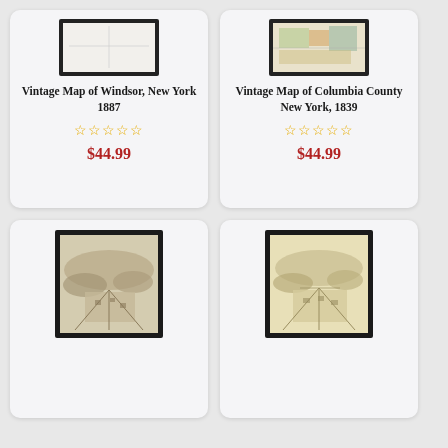[Figure (illustration): Framed vintage map of Windsor, New York 1887 — partial top visible, white/light background]
Vintage Map of Windsor, New York 1887
☆☆☆☆☆
$44.99
[Figure (illustration): Framed vintage map of Columbia County New York, 1839 — partial top visible, colorful map in black frame]
Vintage Map of Columbia County New York, 1839
☆☆☆☆☆
$44.99
[Figure (illustration): Framed vintage bird's-eye view map, sepia tone, mountainous landscape with town detail — bottom half card]
[Figure (illustration): Framed vintage bird's-eye view map, yellowish tone, town with roads — bottom half card]